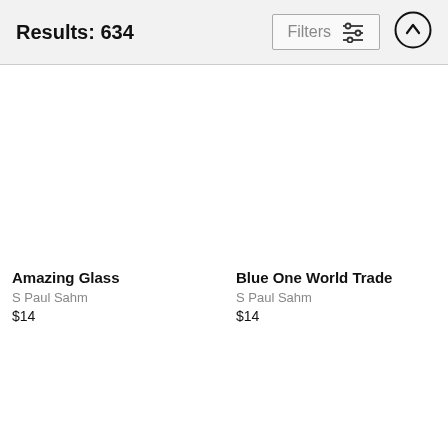Results: 634
Amazing Glass
S Paul Sahm
$14
Blue One World Trade
S Paul Sahm
$14